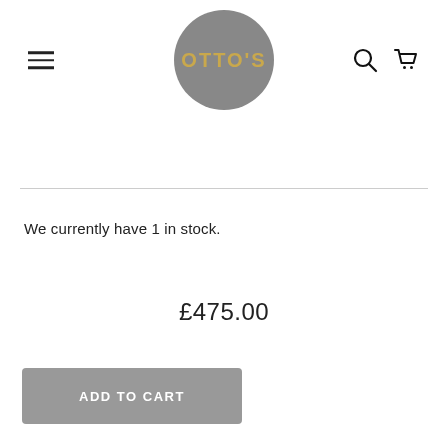[Figure (logo): Otto's logo: grey circle with gold text OTTO'S]
We currently have 1 in stock.
£475.00
ADD TO CART